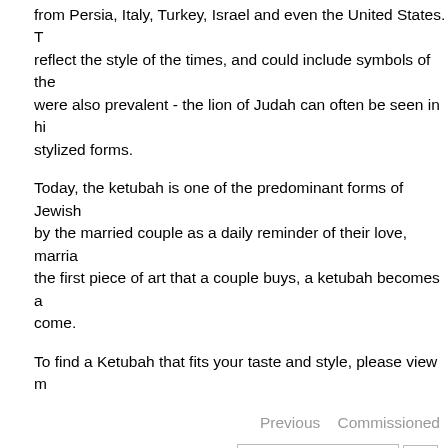from Persia, Italy, Turkey, Israel and even the United States. T reflect the style of the times, and could include symbols of the were also prevalent - the lion of Judah can often be seen in hi stylized forms.
Today, the ketubah is one of the predominant forms of Jewish by the married couple as a daily reminder of their love, marria the first piece of art that a couple buys, a ketubah becomes a come.
To find a Ketubah that fits your taste and style, please view m
Previous   Commissioned
[Figure (screenshot): Facebook Find us on Facebook button and partial YouTube button]
Home | About The Artist | Gallery | Ketubahs | Commissioned Proje
Archie Granot Pa